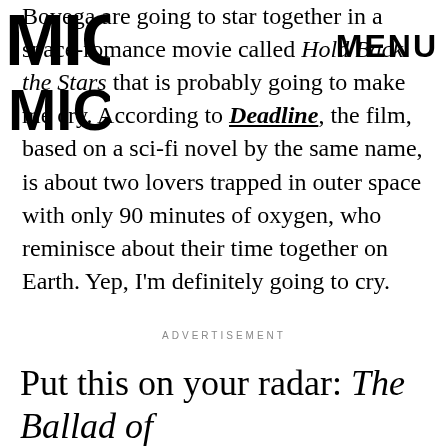MIC (logo) | MENU
Bovega are going to star together in a space-romance movie called Hold Back the Stars that is probably going to make me cry. According to Deadline, the film, based on a sci-fi novel by the same name, is about two lovers trapped in outer space with only 90 minutes of oxygen, who reminisce about their time together on Earth. Yep, I'm definitely going to cry.
ADVERTISEMENT
Put this on your radar: The Ballad of